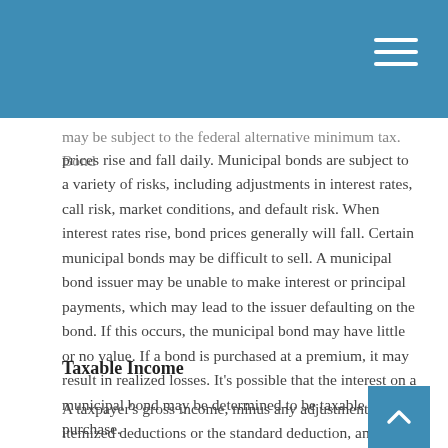may be subject to the federal alternative minimum tax. Bond prices rise and fall daily. Municipal bonds are subject to a variety of risks, including adjustments in interest rates, call risk, market conditions, and default risk. When interest rates rise, bond prices generally will fall. Certain municipal bonds may be difficult to sell. A municipal bond issuer may be unable to make interest or principal payments, which may lead to the issuer defaulting on the bond. If this occurs, the municipal bond may have little or no value. If a bond is purchased at a premium, it may result in realized losses. It's possible that the interest on a municipal bond may be determined to be taxable after purchase.
Taxable Income
A taxpayer's gross income, minus any adjustments, itemized deductions or the standard deduction, and personal